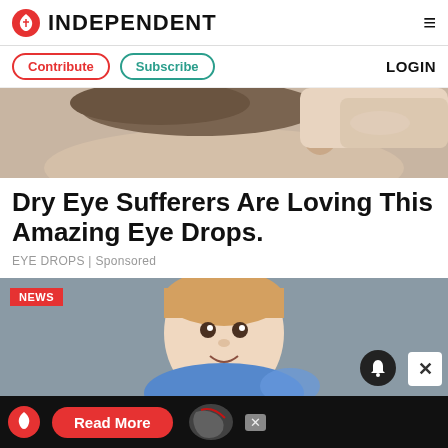INDEPENDENT
Contribute | Subscribe | LOGIN
[Figure (photo): A close-up photo of a person having their eye examined, with a hand near their face]
Dry Eye Sufferers Are Loving This Amazing Eye Drops.
EYE DROPS | Sponsored
[Figure (photo): A young boy with red/blonde hair smiling at camera, with a NEWS badge overlay in the top left corner]
[Figure (infographic): Advertisement bar at the bottom: Independent logo, Read More button, globe graphic, X close button]